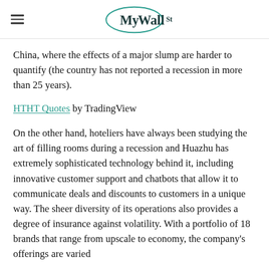MyWallSt
China, where the effects of a major slump are harder to quantify (the country has not reported a recession in more than 25 years).
HTHT Quotes by TradingView
On the other hand, hoteliers have always been studying the art of filling rooms during a recession and Huazhu has extremely sophisticated technology behind it, including innovative customer support and chatbots that allow it to communicate deals and discounts to customers in a unique way. The sheer diversity of its operations also provides a degree of insurance against volatility. With a portfolio of 18 brands that range from upscale to economy, the company's offerings are varied